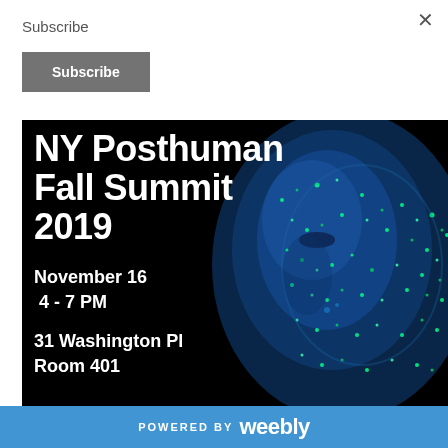Subscribe
×
Subscribe
[Figure (illustration): Event promotional banner on black background showing a blue-green glowing digital face on the right side. White bold text on the left reads: NY Posthuman Fall Summit 2019 / November 16 / 4 - 7 PM / 31 Washington Pl / Room 401]
POWERED BY weebly